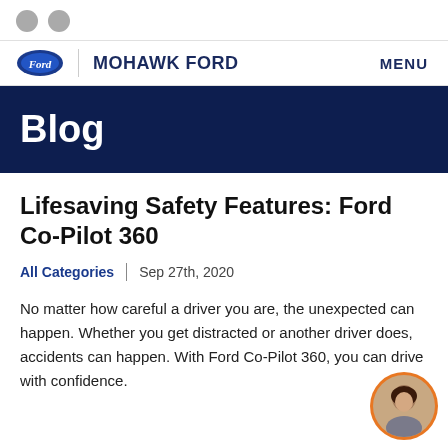● ●
MOHAWK FORD | MENU
Blog
Lifesaving Safety Features: Ford Co-Pilot 360
All Categories | Sep 27th, 2020
No matter how careful a driver you are, the unexpected can happen. Whether you get distracted or another driver does, accidents can happen. With Ford Co-Pilot 360, you can drive with confidence.
[Figure (photo): Circular avatar photo of a woman, with an orange border, positioned in bottom-right corner]